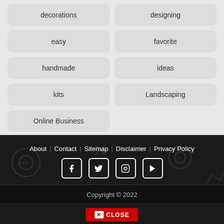decorations
designing
easy
favorite
handmade
ideas
kits
Landscaping
Online Business
About  Contact  Sitemap  Disclaimer  Privacy Policy
Copyright © 2022